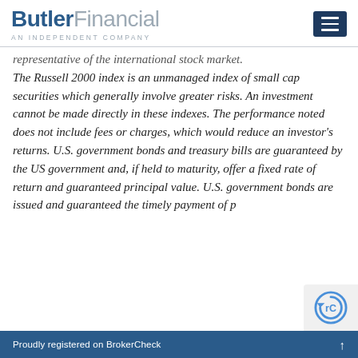ButlerFinancial — AN INDEPENDENT COMPANY
representative of the international stock market. The Russell 2000 index is an unmanaged index of small cap securities which generally involve greater risks. An investment cannot be made directly in these indexes. The performance noted does not include fees or charges, which would reduce an investor's returns. U.S. government bonds and treasury bills are guaranteed by the US government and, if held to maturity, offer a fixed rate of return and guaranteed principal value. U.S. government bonds are issued and guaranteed the timely payment of p
Proudly registered on BrokerCheck ↑